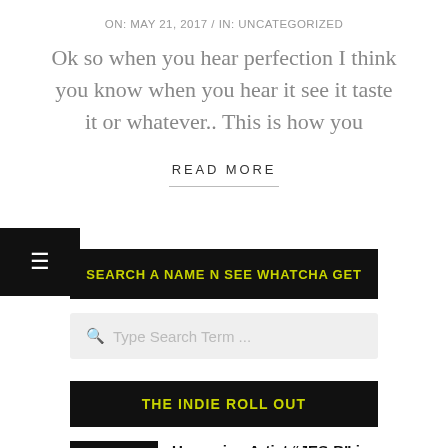ON:  MAY 21, 2017  /  IN:  UNCATEGORIZED
Ok so when you hear perfection I think you know when you hear it see it taste it or whatever..  This is how you
READ MORE
SEARCH A NAME N SEE WHATCHA GET
Type Search Term ...
THE INDIE ROLL OUT
Upcoming Artist “JES-B” is making
[Figure (photo): Thumbnail image for JES-B article, dark background with red and orange letters]